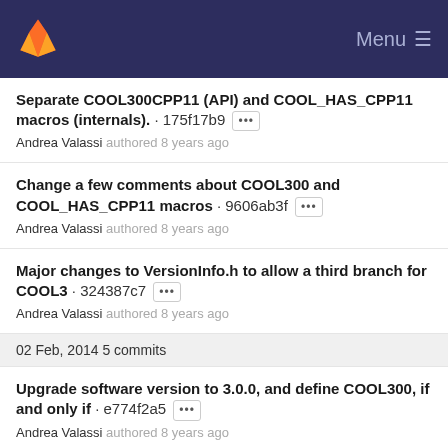GitLab — Menu
Separate COOL300CPP11 (API) and COOL_HAS_CPP11 macros (internals). · 175f17b9 ···
Andrea Valassi authored 8 years ago
Change a few comments about COOL300 and COOL_HAS_CPP11 macros · 9606ab3f ···
Andrea Valassi authored 8 years ago
Major changes to VersionInfo.h to allow a third branch for COOL3 · 324387c7 ···
Andrea Valassi authored 8 years ago
02 Feb, 2014 5 commits
Upgrade software version to 3.0.0, and define COOL300, if and only if · e774f2a5 ···
Andrea Valassi authored 8 years ago
Upgrade software version to 3.0.0 if COOL300 is explicitly defined · a5262c4d ···